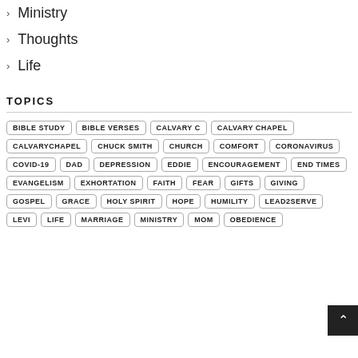Ministry
Thoughts
Life
TOPICS
BIBLE STUDY, BIBLE VERSES, CALVARY C, CALVARY CHAPEL, CALVARYCHAPEL, CHUCK SMITH, CHURCH, COMFORT, CORONAVIRUS, COVID-19, DAD, DEPRESSION, EDDIE, ENCOURAGEMENT, END TIMES, EVANGELISM, EXHORTATION, FAITH, FEAR, GIFTS, GIVING, GOSPEL, GRACE, HOLY SPIRIT, HOPE, HUMILITY, LEAD2SERVE, LEVI, LIFE, MARRIAGE, MINISTRY, MOM, OBEDIENCE